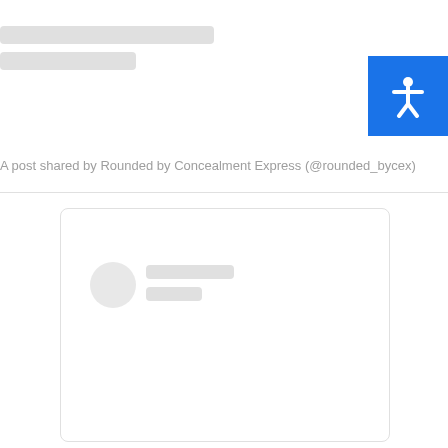[Figure (screenshot): Loading skeleton bars at top of page — two gray rounded rectangles representing placeholder content]
[Figure (infographic): Blue accessibility button with white human figure icon (arms and legs spread)]
A post shared by Rounded by Concealment Express (@rounded_bycex)
[Figure (screenshot): Loading card with rounded border containing a circular avatar skeleton and two gray skeleton text bars]